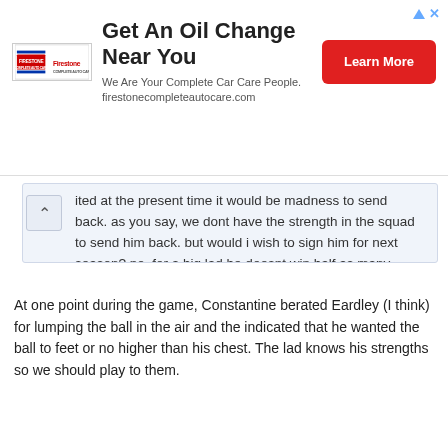[Figure (other): Firestone Complete Auto Care advertisement banner with logo, headline 'Get An Oil Change Near You', subtext 'We Are Your Complete Car Care People. firestonecompleteautocare.com', and a red 'Learn More' button.]
ited at the present time it would be madness to send back. as you say, we dont have the strength in the squad to send him back. but would i wish to sign him for next season? no. for a big lad he doesnt win half as many headers as he should be doing, and his close control isnt what it should be either. imo there are far better prospects out there, and for what i think his wages would be there are better ways to spend our money. i would have hughes, davies and allessandra all above constantine anyday of the week. but hey, thats just my opinion. everyone is entitled to their's
At one point during the game, Constantine berated Eardley (I think) for lumping the ball in the air and the indicated that he wanted the ball to feet or no higher than his chest. The lad knows his strengths so we should play to them.